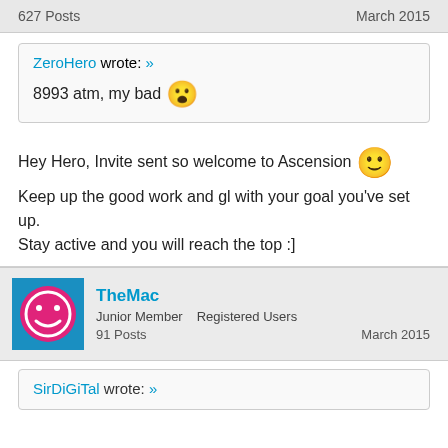627 Posts   March 2015
ZeroHero wrote: »
8993 atm, my bad 😮
Hey Hero, Invite sent so welcome to Ascension 🙂 Keep up the good work and gl with your goal you've set up.
Stay active and you will reach the top :]
TheMac
Junior Member   Registered Users
91 Posts   March 2015
SirDiGiTal wrote: »